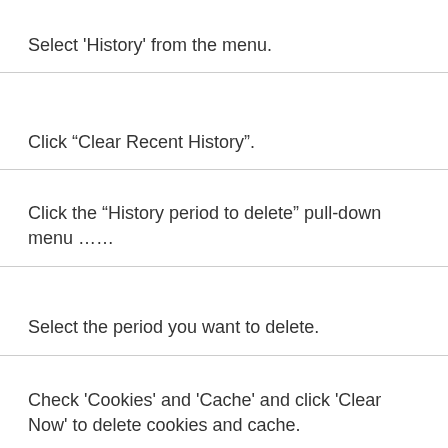Select 'History' from the menu.
Click “Clear Recent History”.
Click the “History period to delete” pull-down menu ……
Select the period you want to delete.
Check 'Cookies' and 'Cache' and click 'Clear Now' to delete cookies and cache.